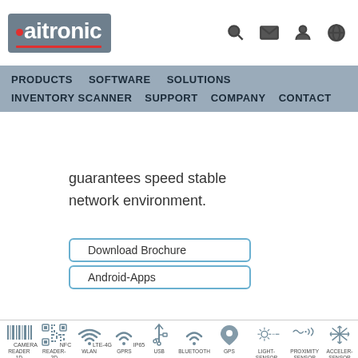aitronic logo with search, mail, user, globe icons
PRODUCTS   SOFTWARE   SOLUTIONS   INVENTORY SCANNER   SUPPORT   COMPANY   CONTACT
guarantees speed stable network environment.
Download Brochure
Android-Apps
[Figure (infographic): Feature icons: READER 1D, READER-2D, WLAN, GPRS, USB, BLUETOOTH, GPS, LIGHT-SENSOR, PROXIMITY SENSOR, ACCELER-SENSOR, CAMERA, NFC, LTE-4G, IP65]